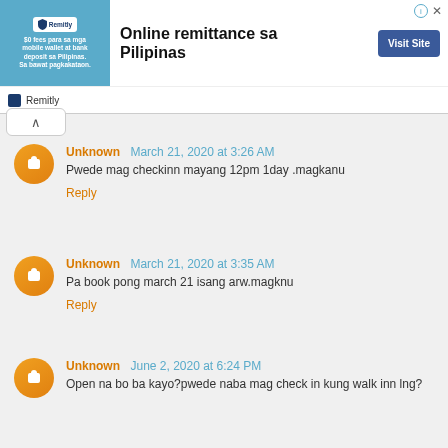[Figure (other): Remitly advertisement banner: teal image block on left with Remitly logo and text '$0 fees para sa mga mobile wallet at bank deposit sa Pilipinas. Sa bawat pagkakataon.' Center text reads 'Online remittance sa Pilipinas'. Blue 'Visit Site' button on right. Info and close icons top right.]
Remitly
^
Unknown March 21, 2020 at 3:26 AM
Pwede mag checkinn mayang 12pm 1day .magkanu
Reply
Unknown March 21, 2020 at 3:35 AM
Pa book pong march 21 isang arw.magknu
Reply
Unknown June 2, 2020 at 6:24 PM
Open na bo ba kayo?pwede naba mag check in kung walk inn lng?